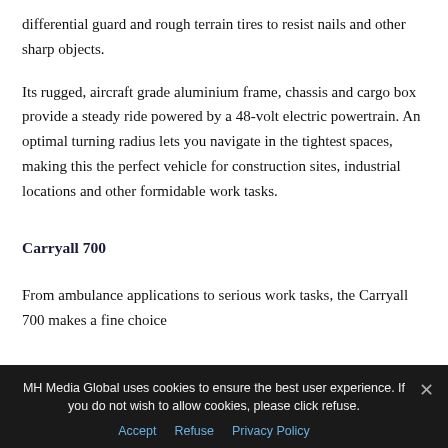differential guard and rough terrain tires to resist nails and other sharp objects.
Its rugged, aircraft grade aluminium frame, chassis and cargo box provide a steady ride powered by a 48-volt electric powertrain. An optimal turning radius lets you navigate in the tightest spaces, making this the perfect vehicle for construction sites, industrial locations and other formidable work tasks.
Carryall 700
From ambulance applications to serious work tasks, the Carryall 700 makes a fine choice...
MH Media Global uses cookies to ensure the best user experience. If you do not wish to allow cookies, please click refuse.